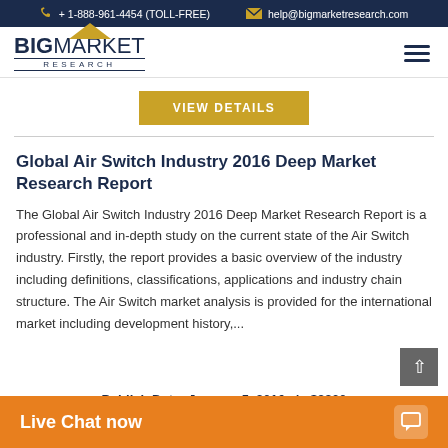+ 1-888-961-4454 (TOLL-FREE)   help@bigmarketresearch.com
[Figure (logo): Big Market Research logo with gold chevron above text]
VIEW DETAILS
Global Air Switch Industry 2016 Deep Market Research Report
The Global Air Switch Industry 2016 Deep Market Research Report is a professional and in-depth study on the current state of the Air Switch industry. Firstly, the report provides a basic overview of the industry including definitions, classifications, applications and industry chain structure. The Air Switch market analysis is provided for the international market including development history,...
Publish Date: January 5, 2016   |   $2800
Live Chat now